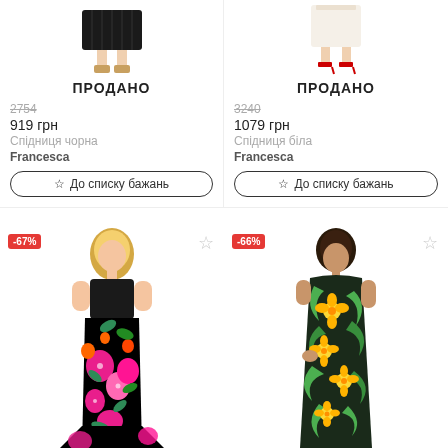[Figure (photo): Top half of dark skirt with legs/shoes, ПРОДАНО (SOLD) banner overlay]
ПРОДАНО
2754
919 грн
Спідниця чорна
Francesca
До списку бажань
[Figure (photo): Top half of white item with legs in red heels, ПРОДАНО (SOLD) banner overlay]
ПРОДАНО
3240
1079 грн
Спідниця біла
Francesca
До списку бажань
[Figure (photo): Woman in black top and colorful floral maxi skirt, -67% discount badge]
[Figure (photo): Woman in tropical floral midi dress, -66% discount badge]